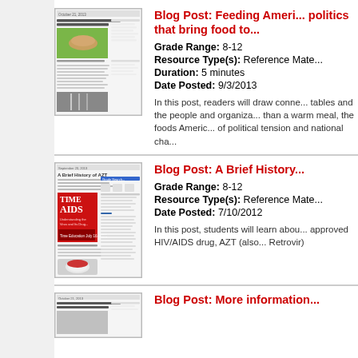[Figure (screenshot): Thumbnail screenshot of blog post about Feeding America with food images]
Blog Post: Feeding America: The politics that bring food to...
Grade Range: 8-12
Resource Type(s): Reference Mate...
Duration: 5 minutes
Date Posted: 9/3/2013
In this post, readers will draw connections between their tables and the people and organizations that fill them. More than a warm meal, the foods Americans eat are often sources of political tension and national cha...
[Figure (screenshot): Thumbnail screenshot of blog post about A Brief History of AZT with TIME magazine AIDS cover]
Blog Post: A Brief History...
Grade Range: 8-12
Resource Type(s): Reference Mate...
Date Posted: 7/10/2012
In this post, students will learn about the first FDA-approved HIV/AIDS drug, AZT (also known as Retrovir)
[Figure (screenshot): Thumbnail screenshot of a third blog post entry (partially visible)]
Blog Post: More information...